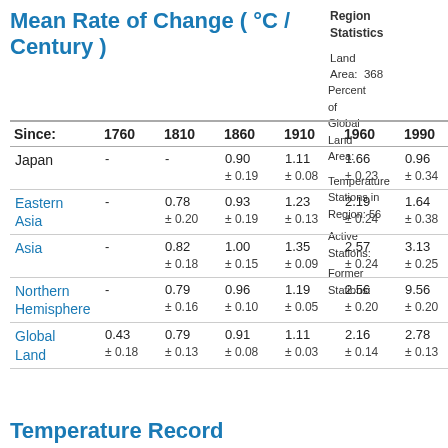Mean Rate of Change ( °C / Century )
Region Statistics
Land Area: 368
Percent of Global Land Area:
Temperature Stations in Region: 56
Active Stations: 9.56 ± 0.20
Former Stations:
| Since: | 1760 | 1810 | 1860 | 1910 | 1960 | 1990 |
| --- | --- | --- | --- | --- | --- | --- |
| Japan | - | - | 0.90
±0.19 | 1.11
±0.08 | 1.66
±0.23 | 0.96
±0.34 |
| Eastern Asia | - | 0.78
±0.20 | 0.93
±0.19 | 1.23
±0.13 | 2.19
±0.24 | 1.64
±0.38 |
| Asia | - | 0.82
±0.18 | 1.00
±0.15 | 1.35
±0.09 | 2.57
±0.24 | 3.13
±0.25 |
| Northern Hemisphere | - | 0.79
±0.16 | 0.96
±0.10 | 1.19
±0.05 | 2.56
±0.20 | 9.56
±0.20 |
| Global Land | 0.43
±0.18 | 0.79
±0.13 | 0.91
±0.08 | 1.11
±0.03 | 2.16
±0.14 | 2.78
±0.13 |
Temperature Record